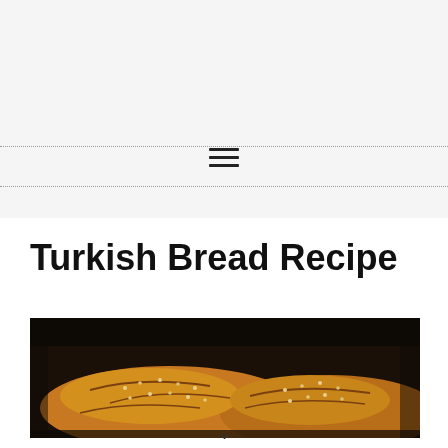≡
Turkish Bread Recipe
[Figure (photo): Photo of Turkish bread loaves with sesame seeds on top, golden-brown baked in a dark pan]